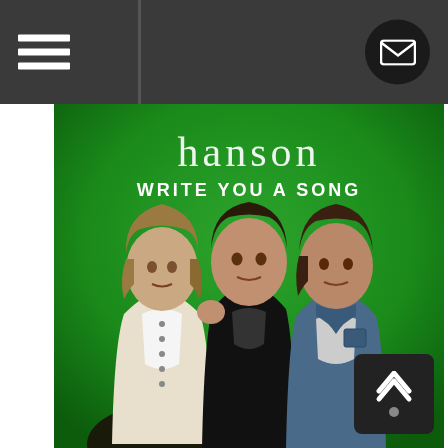[Figure (screenshot): Website screenshot showing a dark grey navigation bar at top with hamburger menu icon on left and mail/envelope icon on right, followed by the Hanson 'Write You A Song' album cover featuring three men standing against a green background with the text 'hanson' and 'WRITE YOU A SONG' overlaid, and a scroll-to-top button in the bottom right corner.]